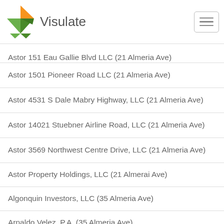Visulate
Astor 151 Eau Gallie Blvd LLC (21 Almeria Ave)
Astor 1501 Pioneer Road LLC (21 Almeria Ave)
Astor 4531 S Dale Mabry Highway, LLC (21 Almeria Ave)
Astor 14021 Stuebner Airline Road, LLC (21 Almeria Ave)
Astor 3569 Northwest Centre Drive, LLC (21 Almeria Ave)
Astor Property Holdings, LLC (21 Almerai Ave)
Algonquin Investors, LLC (35 Almeria Ave)
Arnaldo Velez, P.A. (35 Almeria Ave)
Tinliz Corp. (35 Almeria Ave)
Samlap Ii, Inc. (75 Valencia Ave 4th Floor)